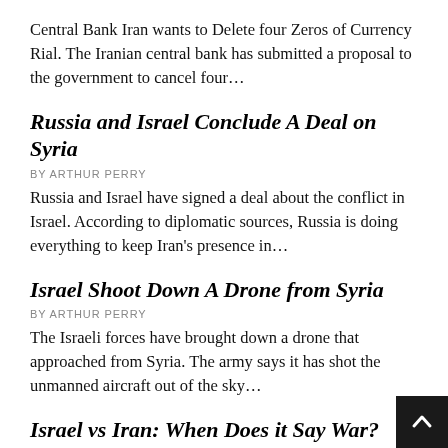Central Bank Iran wants to Delete four Zeros of Currency Rial. The Iranian central bank has submitted a proposal to the government to cancel four…
Russia and Israel Conclude A Deal on Syria
BY ARTHUR PERRY
Russia and Israel have signed a deal about the conflict in Israel. According to diplomatic sources, Russia is doing everything to keep Iran's presence in…
Israel Shoot Down A Drone from Syria
BY ARTHUR PERRY
The Israeli forces have brought down a drone that approached from Syria. The army says it has shot the unmanned aircraft out of the sky…
Israel vs Iran: When Does it Say War?
BY ARTHUR PERRY